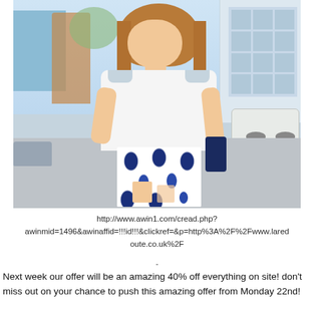[Figure (photo): Fashion photo of a young woman with long brown hair wearing a white off-shoulder top and blue-and-white patterned midi skirt, walking on a street with blurred urban background including light blue buildings and a white car.]
http://www.awin1.com/cread.php?awinmid=1496&awinaffid=!!!id!!!&clickref=&p=http%3A%2F%2Fwww.laredoute.co.uk%2F
-
Next week our offer will be an amazing 40% off everything on site!  don't miss out on your chance to push this amazing offer from Monday 22nd!